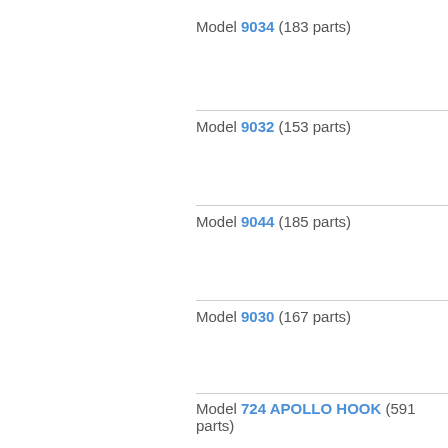Model 9034 (183 parts)
Model 9032 (153 parts)
Model 9044 (185 parts)
Model 9030 (167 parts)
Model 724 APOLLO HOOK (591 parts)
Model 719 APOLLO HOOK (591 parts)